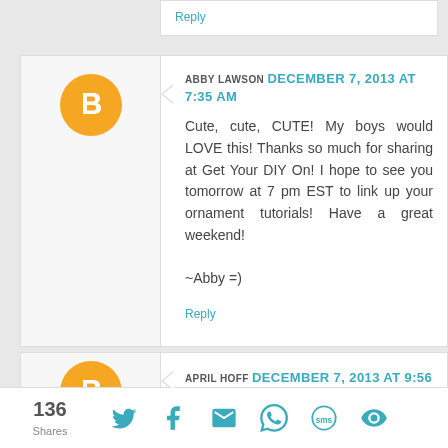Reply
ABBY LAWSON DECEMBER 7, 2013 AT 7:35 AM
Cute, cute, CUTE! My boys would LOVE this! Thanks so much for sharing at Get Your DIY On! I hope to see you tomorrow at 7 pm EST to link up your ornament tutorials! Have a great weekend!

~Abby =)
Reply
APRIL HOFF DECEMBER 7, 2013 AT 9:56
136 Shares